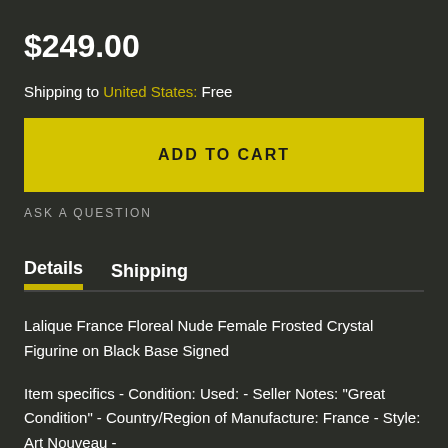$249.00
Shipping to United States: Free
ADD TO CART
ASK A QUESTION
Details
Shipping
Lalique France Floreal Nude Female Frosted Crystal Figurine on Black Base Signed
Item specifics - Condition: Used: - Seller Notes: "Great Condition" - Country/Region of Manufacture: France - Style: Art Nouveau - Original/Reproduction: Vintage Original - Features: